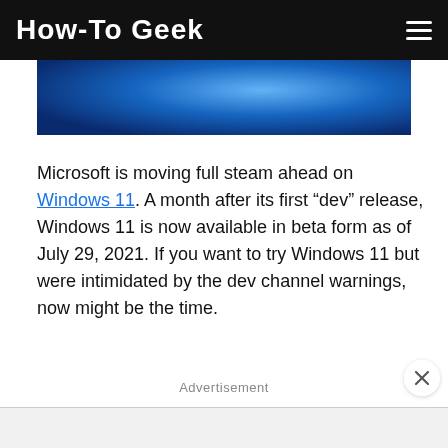How-To Geek
[Figure (photo): Blue abstract Windows 11 hero image with swirling blue tones]
Microsoft is moving full steam ahead on Windows 11. A month after its first “dev” release, Windows 11 is now available in beta form as of July 29, 2021. If you want to try Windows 11 but were intimidated by the dev channel warnings, now might be the time.
Advertisement